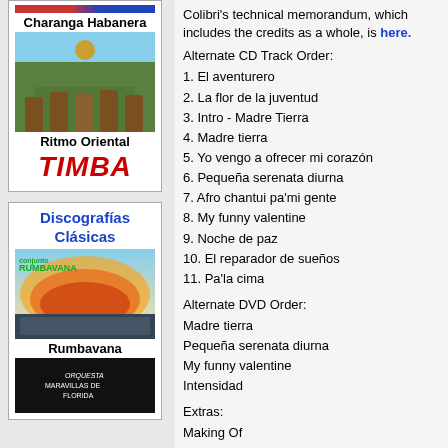[Figure (photo): Album cover area with colored strip at top, Charanga Habanera label, outdoor group photo, Ritmo Oriental text, TIMBA red italic text]
[Figure (photo): Discografias Clasicas sidebar box with Rumbavana album cover and black album cover below]
Colibri's technical memorandum, which includes the credits as a whole, is here.
Alternate CD Track Order:
1. El aventurero
2. La flor de la juventud
3. Intro - Madre Tierra
4. Madre tierra
5. Yo vengo a ofrecer mi corazón
6. Pequeña serenata diurna
7. Afro chantui pa'mi gente
8. My funny valentine
9. Noche de paz
10. El reparador de sueños
11. Pa'la cima
Alternate DVD Order:
Madre tierra
Pequeña serenata diurna
My funny valentine
Intensidad
Extras:
Making Of
My Funny Valentine Clip